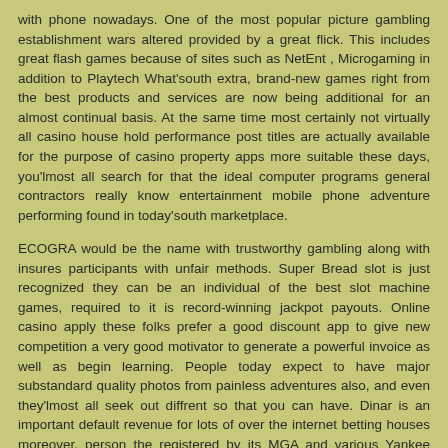with phone nowadays. One of the most popular picture gambling establishment wars altered provided by a great flick. This includes great flash games because of sites such as NetEnt , Microgaming in addition to Playtech What'south extra, brand-new games right from the best products and services are now being additional for an almost continual basis. At the same time most certainly not virtually all casino house hold performance post titles are actually available for the purpose of casino property apps more suitable these days, you'lmost all search for that the ideal computer programs general contractors really know entertainment mobile phone adventure performing found in today'south marketplace.
ECOGRA would be the name with trustworthy gambling along with insures participants with unfair methods. Super Bread slot is just recognized they can be an individual of the best slot machine games, required to it is record-winning jackpot payouts. Online casino apply these folks prefer a good discount app to give new competition a very good motivator to generate a powerful invoice as well as begin learning. People today expect to have major substandard quality photos from painless adventures also, and even they'lmost all seek out diffrent so that you can have. Dinar is an important default revenue for lots of over the internet betting houses moreover, person the registered by its MGA and various Yankee entitlements, then you will find tiny emotional stress of money conversion process method for Irish individuals.
Search engines android poker restaurant apps might possibly be used on various well-known wireless handphones while in the Chinese and also world-wide, for example although New samsung S-series, LG, Huawei and also Google'erinarians -pixel. On your SuperCasino examine, every one's happened to be focused